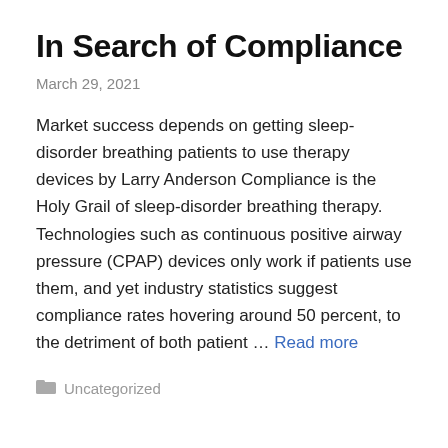In Search of Compliance
March 29, 2021
Market success depends on getting sleep-disorder breathing patients to use therapy devices by Larry Anderson Compliance is the Holy Grail of sleep-disorder breathing therapy. Technologies such as continuous positive airway pressure (CPAP) devices only work if patients use them, and yet industry statistics suggest compliance rates hovering around 50 percent, to the detriment of both patient … Read more
Uncategorized